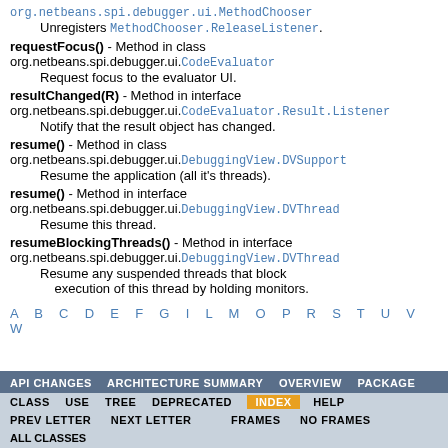org.netbeans.spi.debugger.ui.MethodChooser
    Unregisters MethodChooser.ReleaseListener.
requestFocus() - Method in class org.netbeans.spi.debugger.ui.CodeEvaluator
    Request focus to the evaluator UI.
resultChanged(R) - Method in interface org.netbeans.spi.debugger.ui.CodeEvaluator.Result.Listener
    Notify that the result object has changed.
resume() - Method in class org.netbeans.spi.debugger.ui.DebuggingView.DVSupport
    Resume the application (all it's threads).
resume() - Method in interface org.netbeans.spi.debugger.ui.DebuggingView.DVThread
    Resume this thread.
resumeBlockingThreads() - Method in interface org.netbeans.spi.debugger.ui.DebuggingView.DVThread
    Resume any suspended threads that block execution of this thread by holding monitors.
A B C D E F G I L M O P R S T U V W
API CHANGES  ARCHITECTURE SUMMARY  OVERVIEW  PACKAGE  CLASS  USE  TREE  DEPRECATED  INDEX  HELP  PREV LETTER  NEXT LETTER  FRAMES  NO FRAMES  ALL CLASSES